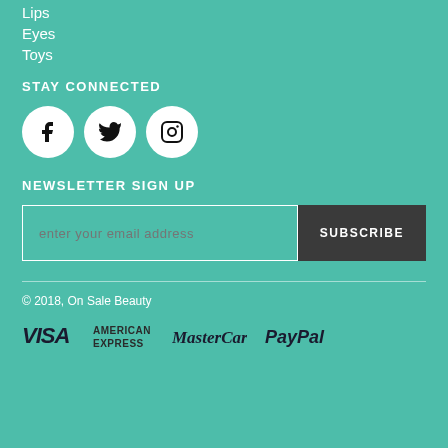Lips
Eyes
Toys
STAY CONNECTED
[Figure (illustration): Three social media icon circles: Facebook, Twitter, Instagram]
NEWSLETTER SIGN UP
enter your email address | SUBSCRIBE
© 2018, On Sale Beauty
[Figure (logo): Payment method logos: VISA, AMERICAN EXPRESS, MasterCard, PayPal]